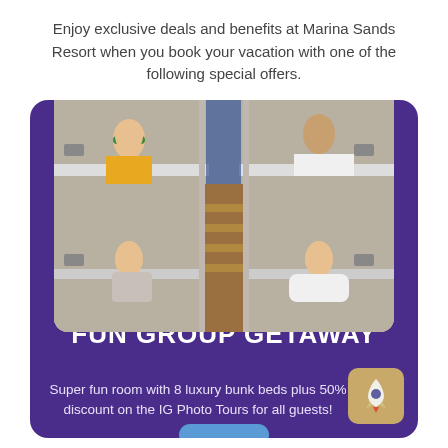Enjoy exclusive deals and benefits at Marina Sands Resort when you book your vacation with one of the following special offers.
[Figure (photo): Photo of people enjoying bunk beds in a hostel-style room at Marina Sands Resort, showing four people on upper and lower bunks with wooden stairs in the center]
FUN GROUP GETAWAY
Super fun room with 8 luxury bunk beds plus 50% discount on the IG Photo Tours for all guests!
[Figure (illustration): Rocket/spaceship icon badge in golden/tan color on a square rounded background]